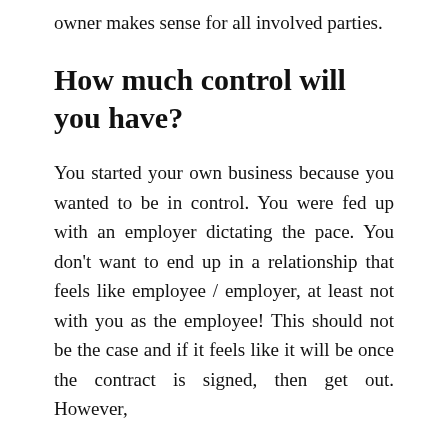owner makes sense for all involved parties.
How much control will you have?
You started your own business because you wanted to be in control. You were fed up with an employer dictating the pace. You don't want to end up in a relationship that feels like employee / employer, at least not with you as the employee! This should not be the case and if it feels like it will be once the contract is signed, then get out. However,